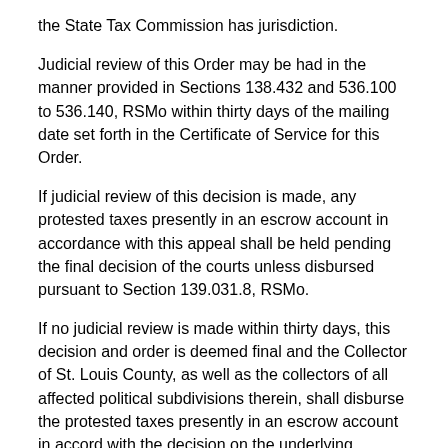the State Tax Commission has jurisdiction.
Judicial review of this Order may be had in the manner provided in Sections 138.432 and 536.100 to 536.140, RSMo within thirty days of the mailing date set forth in the Certificate of Service for this Order.
If judicial review of this decision is made, any protested taxes presently in an escrow account in accordance with this appeal shall be held pending the final decision of the courts unless disbursed pursuant to Section 139.031.8, RSMo.
If no judicial review is made within thirty days, this decision and order is deemed final and the Collector of St. Louis County, as well as the collectors of all affected political subdivisions therein, shall disburse the protested taxes presently in an escrow account in accord with the decision on the underlying assessment in this appeal.
SO ORDERED this 5th day of January, 2016